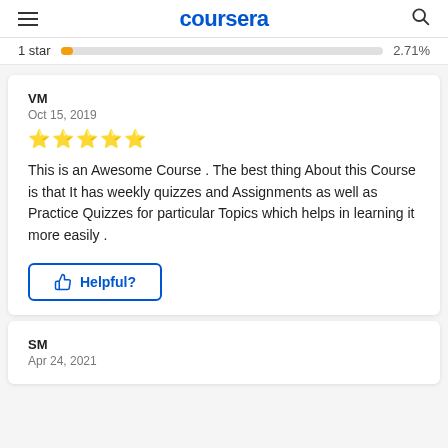coursera
1 star 2.71%
VM
Oct 15, 2019
★★★★★
This is an Awesome Course . The best thing About this Course is that It has weekly quizzes and Assignments as well as Practice Quizzes for particular Topics which helps in learning it more easily .
Helpful?
SM
Apr 24, 2021